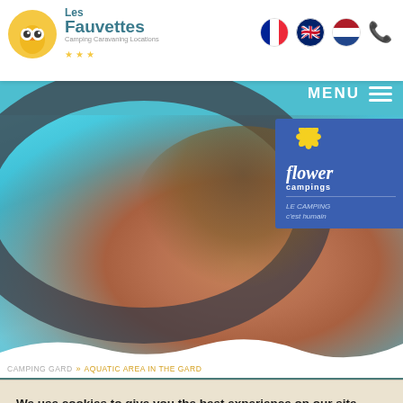Les Fauvettes - Camping Caravaning Locations
[Figure (photo): Child smiling in a swimming pool holding a colorful inflatable ring, with Flower Campings badge visible]
MENU
CAMPING GARD » AQUATIC AREA IN THE GARD
We use cookies to give you the best experience on our site.
You can find out more about which cookies we are using or switch them off in settings.
Accepter
Réglages